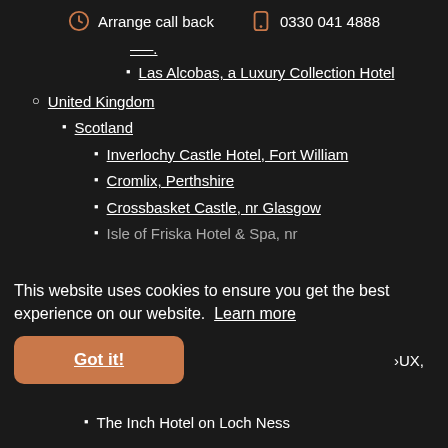Arrange call back  0330 041 4888
Las Alcobas, a Luxury Collection Hotel
United Kingdom
Scotland
Inverlochy Castle Hotel, Fort William
Cromlix, Perthshire
Crossbasket Castle, nr Glasgow
Isle of Friska Hotel & Spa, nr
This website uses cookies to ensure you get the best experience on our website. Learn more
Got it!
IX,
›UX,
The Inch Hotel on Loch Ness